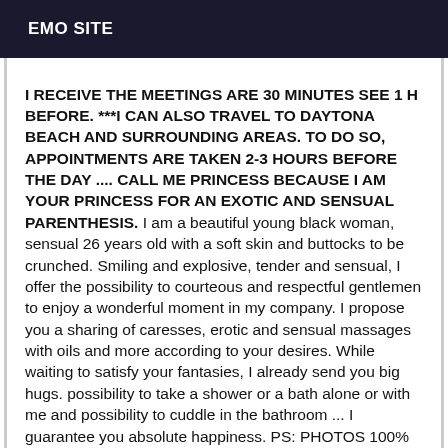EMO SITE
I RECEIVE THE MEETINGS ARE 30 MINUTES SEE 1 H BEFORE. ***I CAN ALSO TRAVEL TO DAYTONA BEACH AND SURROUNDING AREAS. TO DO SO, APPOINTMENTS ARE TAKEN 2-3 HOURS BEFORE THE DAY .... CALL ME PRINCESS BECAUSE I AM YOUR PRINCESS FOR AN EXOTIC AND SENSUAL PARENTHESIS. I am a beautiful young black woman, sensual 26 years old with a soft skin and buttocks to be crunched. Smiling and explosive, tender and sensual, I offer the possibility to courteous and respectful gentlemen to enjoy a wonderful moment in my company. I propose you a sharing of caresses, erotic and sensual massages with oils and more according to your desires. While waiting to satisfy your fantasies, I already send you big hugs. possibility to take a shower or a bath alone or with me and possibility to cuddle in the bathroom ... I guarantee you absolute happiness. PS: PHOTOS 100% REAL AND RECENT I RECEIVE YOU WITH YOUR